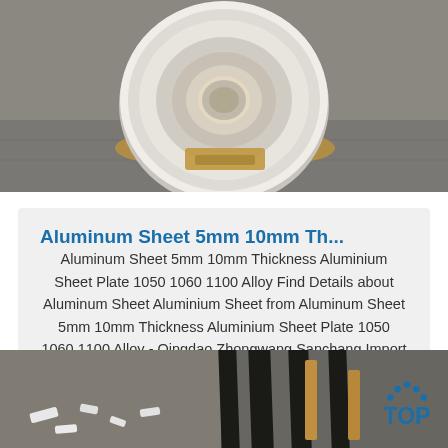[Figure (photo): Photo of a large aluminum coil/roll resting on wooden blocks on a concrete floor, viewed from above/front.]
Aluminum Sheet 5mm 10mm Th...
Aluminum Sheet 5mm 10mm Thickness Aluminium Sheet Plate 1050 1060 1100 Alloy Find Details about Aluminum Sheet Aluminium Sheet from Aluminum Sheet 5mm 10mm Thickness Aluminium Sheet Plate 1050 1060 1100 Alloy - Qingdao Zhongwang Sanchang Import And Export Co. Ltd.
Get Price
[Figure (photo): Photo of aluminum sheets/strips with wooden blocks on a concrete floor, two side-by-side views.]